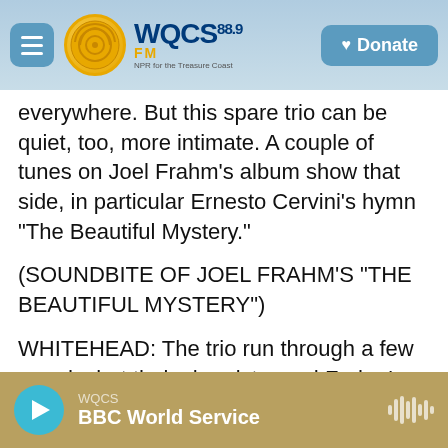WQCS 88.9 FM - NPR for the Treasure Coast | Donate
everywhere. But this spare trio can be quiet, too, more intimate. A couple of tunes on Joel Frahm's album show that side, in particular Ernesto Cervini's hymn "The Beautiful Mystery."
(SOUNDBITE OF JOEL FRAHM'S "THE BEAUTIFUL MYSTERY")
WHITEHEAD: The trio run through a few moods, but their chemistry and Frahm's core values hold it all together. The title track to "The Bright Side" is a hard-to-shake-off earworm, real Pied Piper stuff - one more tale the tenor can tell. Joel Frahm recently moved to Nashville after 30 years in New
WQCS | BBC World Service